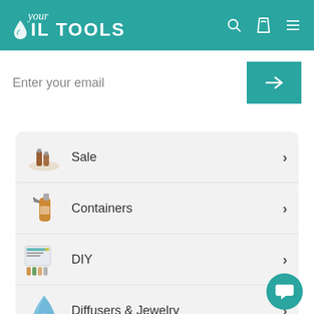[Figure (logo): Your Oil Tools logo on teal header with search, cart, and hamburger menu icons]
Enter your email
Sale
Containers
DIY
Diffusers & Jewelry
Cases & Displays
Educational